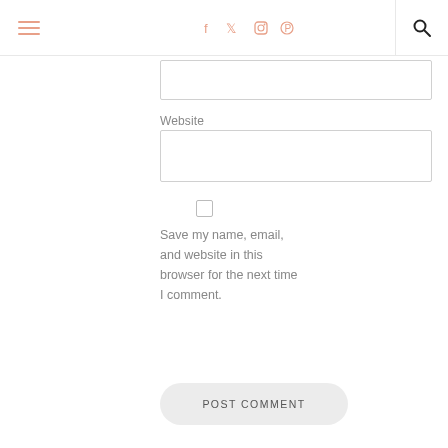Navigation header with hamburger menu, social icons (facebook, twitter, instagram, pinterest), and search icon
Website
Save my name, email, and website in this browser for the next time I comment.
POST COMMENT